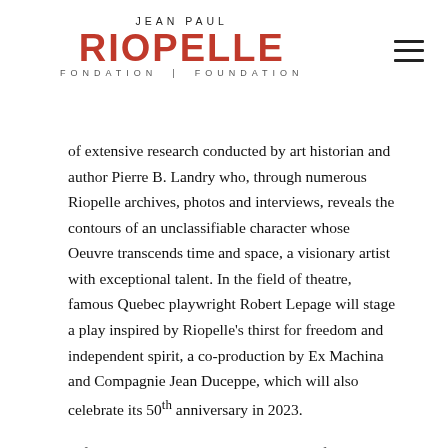JEAN PAUL RIOPELLE FONDATION | FOUNDATION
of extensive research conducted by art historian and author Pierre B. Landry who, through numerous Riopelle archives, photos and interviews, reveals the contours of an unclassifiable character whose Oeuvre transcends time and space, a visionary artist with exceptional talent. In the field of theatre, famous Quebec playwright Robert Lepage will stage a play inspired by Riopelle's thirst for freedom and independent spirit, a co-production by Ex Machina and Compagnie Jean Duceppe, which will also celebrate its 50th anniversary in 2023.
A festive air will take over the summer of 2023 with the presentation of Riopelle Grandeur Nature, an immersive